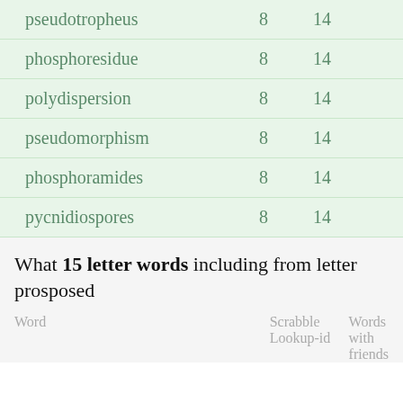| Word | Scrabble Lookup-id | Words with friends |
| --- | --- | --- |
| phosphoresidue | 8 | 14 |
| pseudotropheus | 8 | 14 |
| phosphoresidue | 8 | 14 |
| polydispersion | 8 | 14 |
| pseudomorphism | 8 | 14 |
| phosphoramides | 8 | 14 |
| pycnidiospores | 8 | 14 |
What 15 letter words including from letter prosposed
| Word | Scrabble Lookup-id | Words with friends |
| --- | --- | --- |